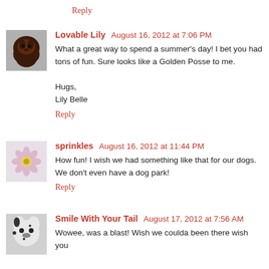Reply
Lovable Lily August 16, 2012 at 7:06 PM
What a great way to spend a summer's day! I bet you had tons of fun. Sure looks like a Golden Posse to me.

Hugs,
Lily Belle
Reply
sprinkles August 16, 2012 at 11:44 PM
How fun! I wish we had something like that for our dogs. We don't even have a dog park!
Reply
Smile With Your Tail August 17, 2012 at 7:56 AM
Wowee, was a blast! Wish we coulda been there wish you